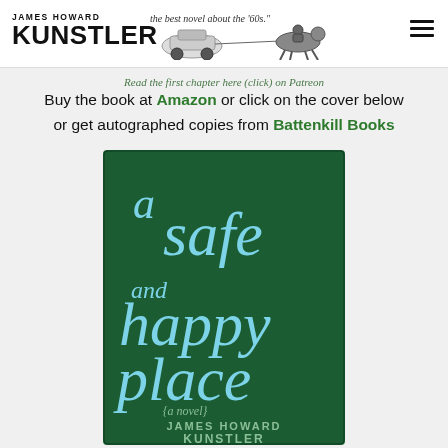JAMES HOWARD KUNSTLER
Read the first chapter here (click) on Patreon
Buy the book at Amazon or click on the cover below or get autographed copies from Battenkill Books
[Figure (illustration): Book cover of 'A Safe and Happy Place: a novel' by James Howard Kunstler. Dark green background with large light blue decorative serif typography.]